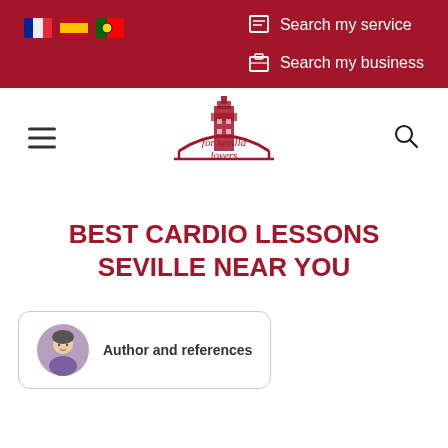Search my service | Search my business
[Figure (logo): For Sevilla Lovers logo with Giralda tower illustration and cursive script text]
BEST CARDIO LESSONS SEVILLE NEAR YOU
Author and references